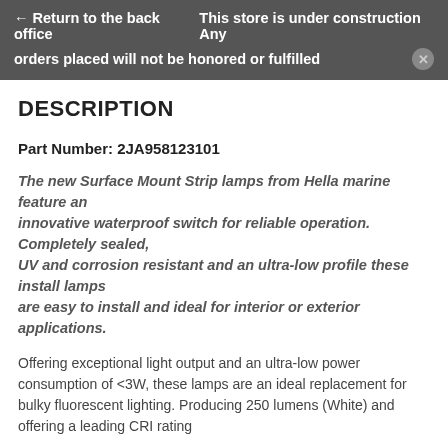← Return to the back office  This store is under construction Any orders placed will not be honored or fulfilled
DESCRIPTION
Part Number: 2JA958123101
The new Surface Mount Strip lamps from Hella marine feature an innovative waterproof switch for reliable operation. Completely sealed, UV and corrosion resistant and an ultra-low profile these install lamps are easy to install and ideal for interior or exterior applications.
Offering exceptional light output and an ultra-low power consumption of <3W, these lamps are an ideal replacement for bulky fluorescent lighting. Producing 250 lumens (White) and offering a leading CRI rating